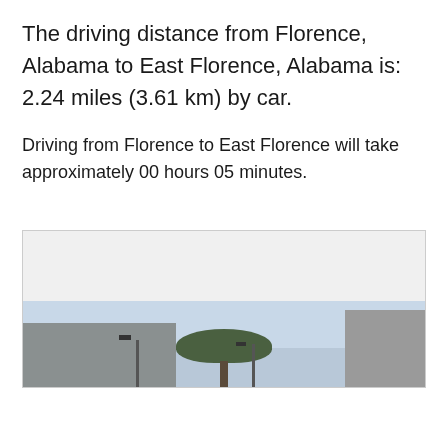The driving distance from Florence, Alabama to East Florence, Alabama is: 2.24 miles (3.61 km) by car.
Driving from Florence to East Florence will take approximately 00 hours 05 minutes.
[Figure (photo): Street-level photo showing buildings and trees in East Florence, Alabama area. A street lamp is visible on the left, a large tree in the center, and a building on the right. Sky is overcast.]